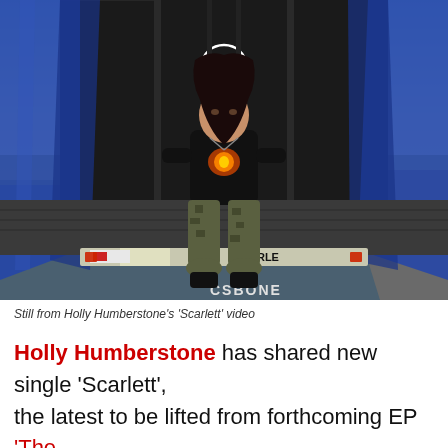[Figure (photo): Still from Holly Humberstone's 'Scarlett' music video. A young woman with long dark hair sits on the back of a flatbed truck/trailer on a runway or road. She is wearing a black graphic t-shirt and camouflage pants with black boots. On the truck behind her is a black backdrop with a skull-like drawing. Blue curtains hang on either side of the truck.]
Still from Holly Humberstone's 'Scarlett' video
Holly Humberstone has shared new single 'Scarlett', the latest to be lifted from forthcoming EP 'The